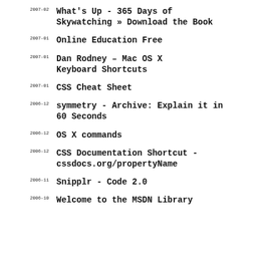2007-02 What's Up - 365 Days of Skywatching » Download the Book
2007-01 Online Education Free
2007-01 Dan Rodney – Mac OS X Keyboard Shortcuts
2007-01 CSS Cheat Sheet
2006-12 symmetry - Archive: Explain it in 60 Seconds
2006-12 OS X commands
2006-12 CSS Documentation Shortcut - cssdocs.org/propertyName
2006-11 Snipplr - Code 2.0
2006-10 Welcome to the MSDN Library